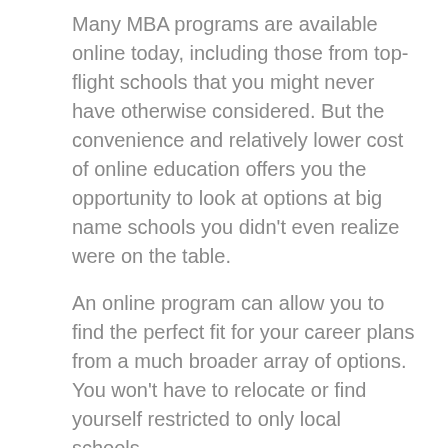Many MBA programs are available online today, including those from top-flight schools that you might never have otherwise considered. But the convenience and relatively lower cost of online education offers you the opportunity to look at options at big name schools you didn't even realize were on the table.
An online program can allow you to find the perfect fit for your career plans from a much broader array of options. You won't have to relocate or find yourself restricted to only local schools.
You can also use the flexibility of online options to keep working your day job even as you are boosting your career prospects through education. You can work on online coursework at any time that is convenient for you, whether it's 3 a.m. or on your lunch break.